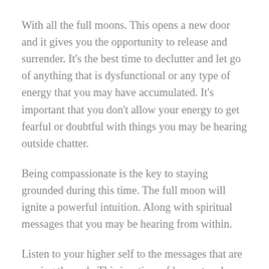With all the full moons. This opens a new door and it gives you the opportunity to release and surrender. It's the best time to declutter and let go of anything that is dysfunctional or any type of energy that you may have accumulated. It's important that you don't allow your energy to get fearful or doubtful with things you may be hearing outside chatter.
Being compassionate is the key to staying grounded during this time. The full moon will ignite a powerful intuition. Along with spiritual messages that you may be hearing from within.
Listen to your higher self to the messages that are coming through. This is a time of harvest and grounding.It's a great time for self-care as you slowly whine down from the Spring/Autumn activities and prepare for the season/wintersolstice...